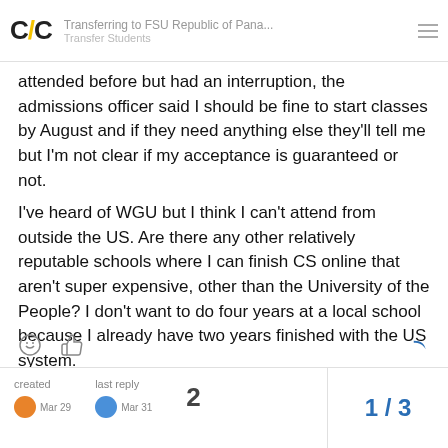Transferring to FSU Republic of Pana... Transfer Students
attended before but had an interruption, the admissions officer said I should be fine to start classes by August and if they need anything else they'll tell me but I'm not clear if my acceptance is guaranteed or not.

I've heard of WGU but I think I can't attend from outside the US. Are there any other relatively reputable schools where I can finish CS online that aren't super expensive, other than the University of the People? I don't want to do four years at a local school because I already have two years finished with the US system.
created  last reply  2  1 / 3